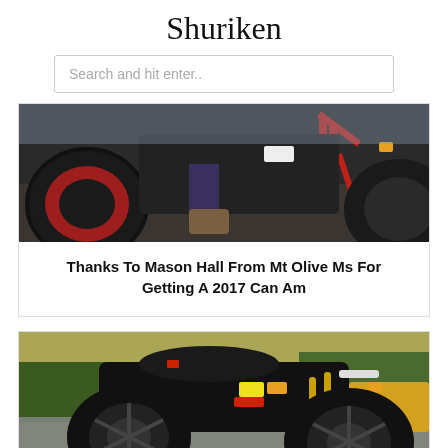Shuriken
Search and hit enter..
[Figure (photo): Close-up photo of a Can-Am off-road vehicle showing large mud tires with red rims, a person's boot visible near the footrest, red suspension components and roll cage, and black bodywork.]
Thanks To Mason Hall From Mt Olive Ms For Getting A 2017 Can Am
[Figure (photo): Photo of a black ATV/quad bike with large oversized mud tires and black alloy wheels, various stickers on the body, gold shocks, parked outdoors on gravel with trees and a yellow vehicle in the background.]